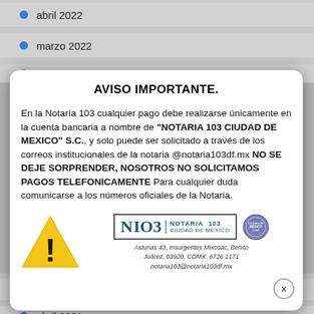abril 2022
marzo 2022
febrero 2022
AVISO IMPORTANTE.
En la Notaría 103 cualquier pago debe realizarse únicamente en la cuenta bancaria a nombre de "NOTARIA 103 CIUDAD DE MEXICO" S.C., y solo puede ser solicitado a través de los correos institucionales de la notaria @notaria103df.mx NO SE DEJE SORPRENDER, NOSOTROS NO SOLICITAMOS PAGOS TELEFONICAMENTE Para cualquier duda comunicarse a los números oficiales de la Notaria.
[Figure (illustration): Yellow warning triangle with exclamation mark icon]
[Figure (logo): Notaria 103 Ciudad de Mexico logo with seal, address: Asturias 43, Insurgentes Mixcoac, Benito Juárez, 03920, CDMX 6726 1171, notaria103@notaria103df.mx]
mayo 2021
abril 2021